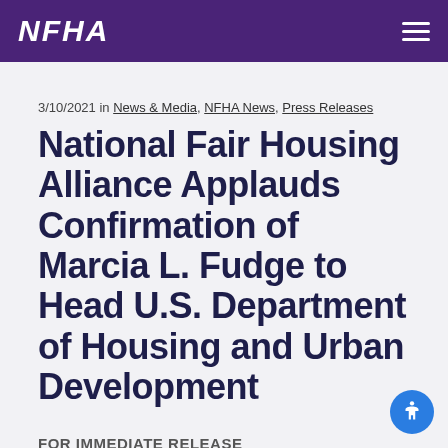NFHA
3/10/2021 in News & Media, NFHA News, Press Releases
National Fair Housing Alliance Applauds Confirmation of Marcia L. Fudge to Head U.S. Department of Housing and Urban Development
FOR IMMEDIATE RELEASE
March 10, 2021